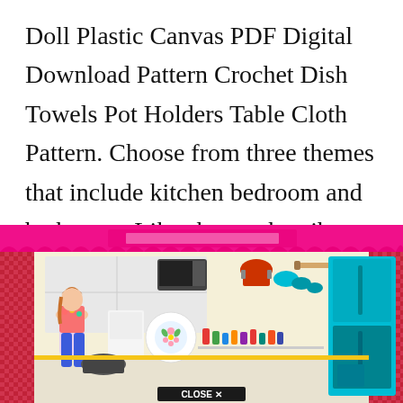Doll Plastic Canvas PDF Digital Download Pattern Crochet Dish Towels Pot Holders Table Cloth Pattern. Choose from three themes that include kitchen bedroom and bathroom. Like share subscribe.
[Figure (photo): Barbie doll kitchen playset in a pink-bordered retail box, showing a doll in a floral top with miniature kitchen appliances, cookware, utensils, and a teal refrigerator. A 'CLOSE X' button appears at the bottom center.]